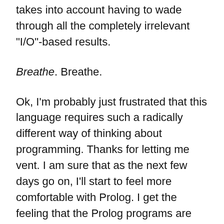takes into account having to wade through all the completely irrelevant "I/O"-based results.
Breathe. Breathe.
Ok, I'm probably just frustrated that this language requires such a radically different way of thinking about programming. Thanks for letting me vent. I am sure that as the next few days go on, I'll start to feel more comfortable with Prolog. I get the feeling that the Prolog programs are perhaps just too interactive to be called from a file. Yes, you can define your knowledge base in a compiled file; but, when it comes to asking that knowledge base for information, maybe that's just something that must be done from the command line (gprolog in